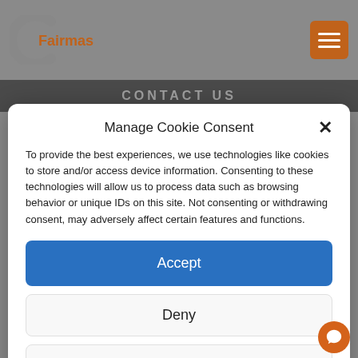[Figure (logo): Fairmas logo with stylized C-shape and brand name]
CONTACT US
Manage Cookie Consent
To provide the best experiences, we use technologies like cookies to store and/or access device information. Consenting to these technologies will allow us to process data such as browsing behavior or unique IDs on this site. Not consenting or withdrawing consent, may adversely affect certain features and functions.
Accept
Deny
View preferences
Cookie Policy  Privacy Statement  Impressum